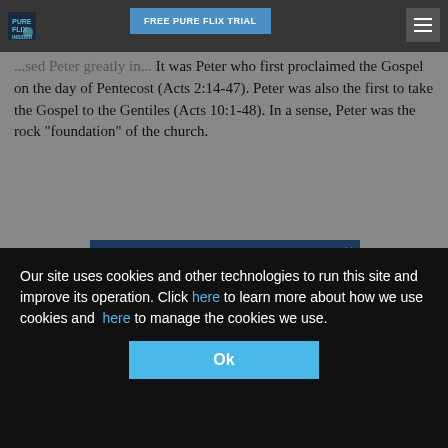Pure Flix Insider | FREE PURE FLIX TRIAL
...sed Peter greatly in... It was Peter who first proclaimed the Gospel on the day of Pentecost (Acts 2:14-47). Peter was also the first to take the Gospel to the Gentiles (Acts 10:1-48). In a sense, Peter was the rock "foundation" of the church.
[Figure (other): $7.99 Monthly Membership Offer ad overlay with movie panels (Tulsa, Countertop, Why We) and GET SPECIAL PRICE button]
Yet despite being used by God, Peter also failed at times, denying Christ three times in the wake of Jesus' arrest. You might recall in Matthew 26:31-35 (NIV) that Jesus predicted this denial during the Last Supper. Peter said he'd never leave Jesus' side, but Christ replied that Peter would, "before the
Our site uses cookies and other technologies to run this site and improve its operation. Click here to learn more about how we use cookies and here to manage the cookies we use.
Ok